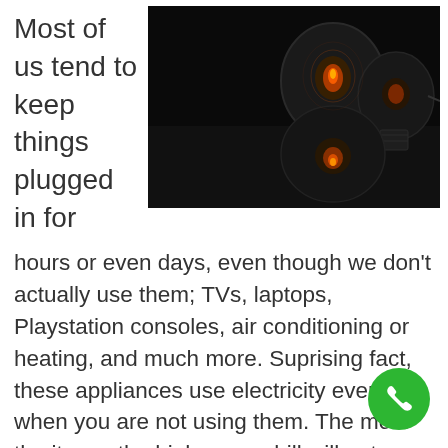Most of us tend to keep things plugged in for
[Figure (photo): Dark photograph of two light bulbs reflecting on a black surface, one glowing with an orange filament]
hours or even days, even though we don't actually use them; TVs, laptops, Playstation consoles, air conditioning or heating, and much more. Suprising fact, these appliances use electricity even when you are not using them. The more the items, the higher your bill will get on wasted energy, so simply unplug them when you won't be using them during the